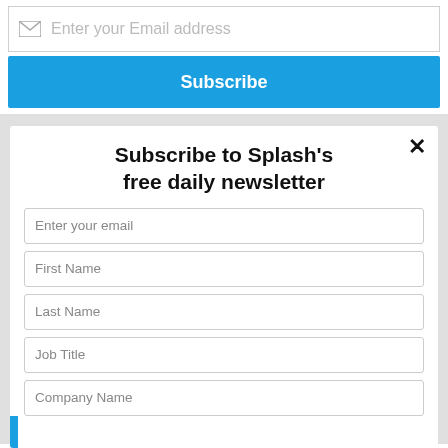[Figure (screenshot): Email subscription input field with envelope icon and placeholder text 'Enter your Email address']
[Figure (screenshot): Blue 'Subscribe' button]
[Figure (screenshot): Modal popup for subscribing to Splash's free daily newsletter with form fields for email, first name, last name, job title, and company name, plus a close button (×)]